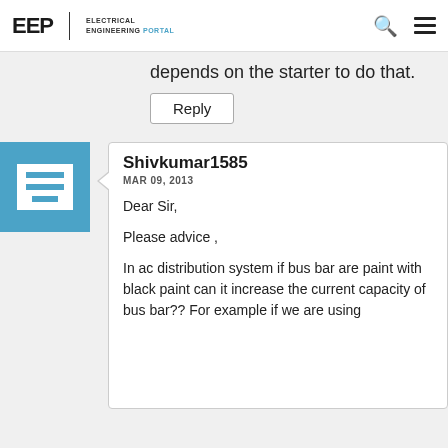EEP ELECTRICAL ENGINEERING PORTAL
depends on the starter to do that.
Reply
Shivkumar1585
MAR 09, 2013
Dear Sir,

Please advice ,

In ac distribution system if bus bar are paint with black paint can it increase the current capacity of bus bar?? For example if we are using